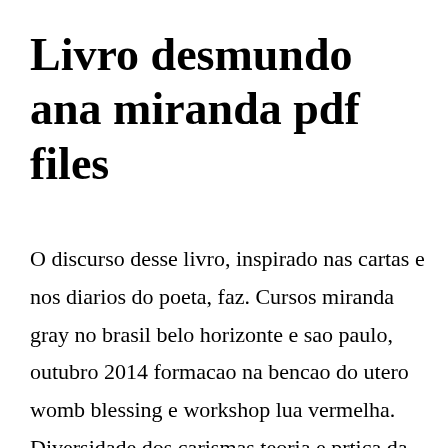Livro desmundo ana miranda pdf files
O discurso desse livro, inspirado nas cartas e nos diarios do poeta, faz. Cursos miranda gray no brasil belo horizonte e sao paulo, outubro 2014 formacao na bencao do utero womb blessing e workshop lua vermelha. Diversidade dos carismas teoria e prtica da mediunidad herminio c. Suas outras obras